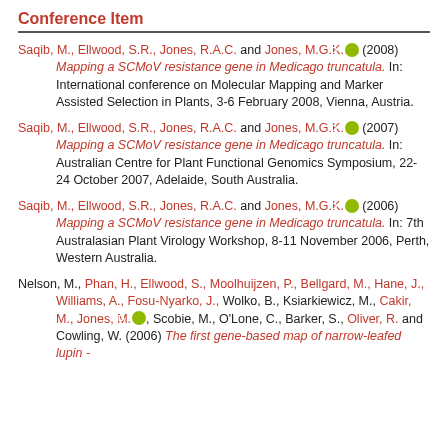Conference Item
Saqib, M., Ellwood, S.R., Jones, R.A.C. and Jones, M.G.K. [ORCID] (2008) Mapping a SCMoV resistance gene in Medicago truncatula. In: International conference on Molecular Mapping and Marker Assisted Selection in Plants, 3-6 February 2008, Vienna, Austria.
Saqib, M., Ellwood, S.R., Jones, R.A.C. and Jones, M.G.K. [ORCID] (2007) Mapping a SCMoV resistance gene in Medicago truncatula. In: Australian Centre for Plant Functional Genomics Symposium, 22-24 October 2007, Adelaide, South Australia.
Saqib, M., Ellwood, S.R., Jones, R.A.C. and Jones, M.G.K. [ORCID] (2006) Mapping a SCMoV resistance gene in Medicago truncatula. In: 7th Australasian Plant Virology Workshop, 8-11 November 2006, Perth, Western Australia.
Nelson, M., Phan, H., Ellwood, S., Moolhuijzen, P., Bellgard, M., Hane, J., Williams, A., Fosu-Nyarko, J., Wolko, B., Ksiarkiewicz, M., Cakir, M., Jones, M. [ORCID], Scobie, M., O'Lone, C., Barker, S., Oliver, R. and Cowling, W. (2006) The first gene-based map of narrow-leafed lupin -